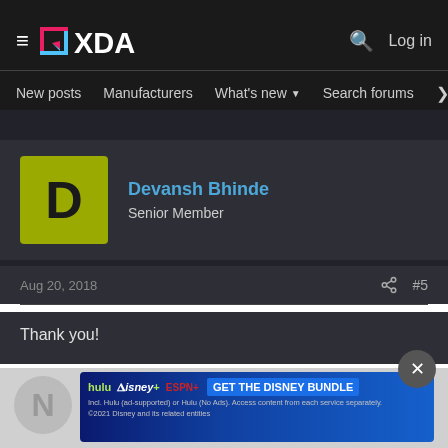XDA Forums — Navigation bar with menu, search, and Log in
New posts   Manufacturers   What's new ▾   Search forums   Membe   >
[Figure (photo): User avatar: olive/yellow-green square with capital letter D]
Devansh Bhinde
Senior Member
Aug 20, 2018
#5
Thank you!
[Figure (screenshot): Disney Bundle advertisement banner: Hulu, Disney+, ESPN+ logos with 'GET THE DISNEY BUNDLE' button and fine print about 2021 Disney and related entities]